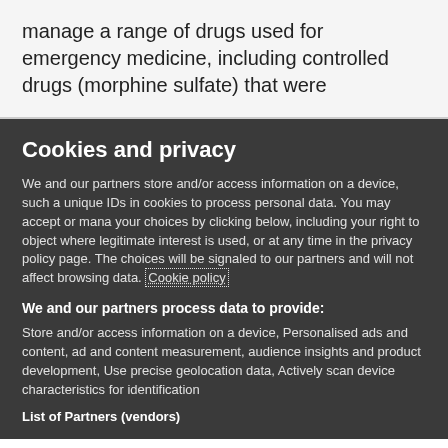manage a range of drugs used for emergency medicine, including controlled drugs (morphine sulfate) that were
Cookies and privacy
We and our partners store and/or access information on a device, such as unique IDs in cookies to process personal data. You may accept or manage your choices by clicking below, including your right to object where legitimate interest is used, or at any time in the privacy policy page. These choices will be signaled to our partners and will not affect browsing data. Cookie policy
We and our partners process data to provide:
Store and/or access information on a device, Personalised ads and content, ad and content measurement, audience insights and product development, Use precise geolocation data, Actively scan device characteristics for identification
List of Partners (vendors)
I Accept